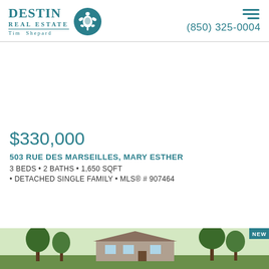Destin Real Estate Tim Shepard | (850) 325-0004
$330,000
503 RUE DES MARSEILLES, MARY ESTHER
3 BEDS • 2 BATHS • 1,650 SQFT
• DETACHED SINGLE FAMILY • MLS® # 907464
[Figure (photo): Exterior photo of residential property at 503 Rue Des Marseilles, Mary Esther, showing trees and house facade. NEW badge visible in corner.]